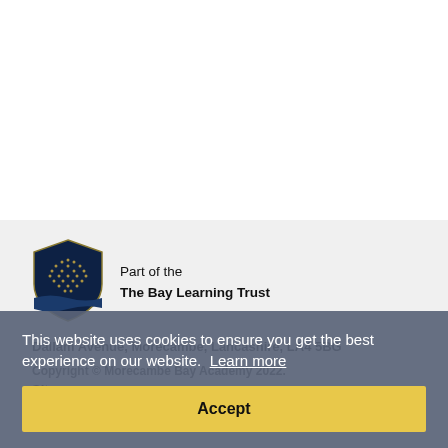Join Us
Contact
Parent Synergy
Parent Pay
Staff Portal
[Figure (logo): The Bay Learning Trust shield logo — dark navy blue shield with gold dot pattern]
Part of the
The Bay Learning Trust
Dallam Avenue, Morecambe, Lancashire, LA4 5BG
Copyright © Morecambe Bay Academy 2022.
Sitemap
This website uses cookies to ensure you get the best experience on our website. Learn more
Accept